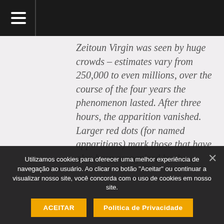Zeitoun Virgin was seen by huge crowds – estimates vary from 250,000 to even millions, over the course of the four years the phenomenon lasted. After three hours, the apparition vanished. Larger red dots (for named apparitions) mark those that have also been recognized by the Vatican. Apart from the importance ... instances of depression and ... antic
Utilizamos cookies para oferecer uma melhor experiência de navegação ao usuário. Ao clicar no botão "Aceitar" ou continuar a visualizar nosso site, você concorda com o uso de cookies em nosso site.
ACEITAR
Politica de Privacidade